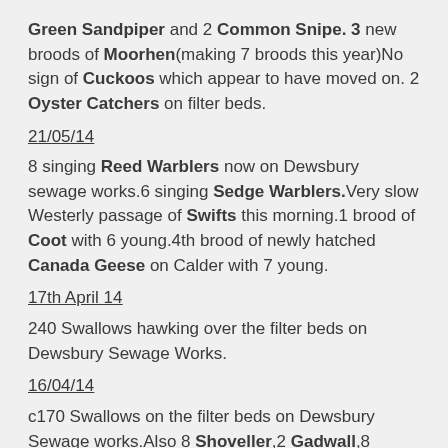Green Sandpiper and 2 Common Snipe. 3 new broods of Moorhen(making 7 broods this year)No sign of Cuckoos which appear to have moved on. 2 Oyster Catchers on filter beds.
21/05/14
8 singing Reed Warblers now on Dewsbury sewage works.6 singing Sedge Warblers.Very slow Westerly passage of Swifts this morning.1 brood of Coot with 6 young.4th brood of newly hatched Canada Geese on Calder with 7 young.
17th April 14
240 Swallows hawking over the filter beds on Dewsbury Sewage Works.
16/04/14
c170 Swallows on the filter beds on Dewsbury Sewage works.Also 8 Shoveller,2 Gadwall,8 Tufted ducks,2 Little grebe.Very few small birds.